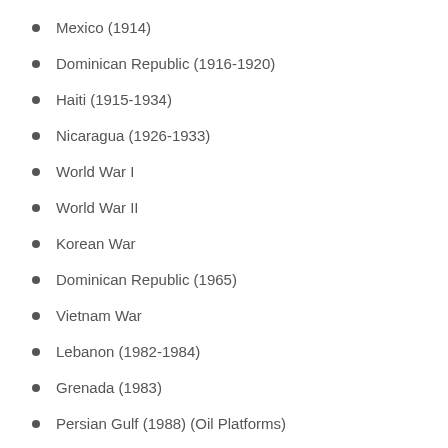Mexico (1914)
Dominican Republic (1916-1920)
Haiti (1915-1934)
Nicaragua (1926-1933)
World War I
World War II
Korean War
Dominican Republic (1965)
Vietnam War
Lebanon (1982-1984)
Grenada (1983)
Persian Gulf (1988) (Oil Platforms)
Panama (1989)
Persian Gulf War (1990-1991)
Somalia (1992-1994)